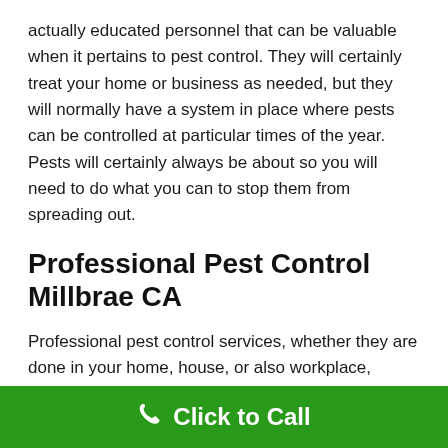actually educated personnel that can be valuable when it pertains to pest control. They will certainly treat your home or business as needed, but they will normally have a system in place where pests can be controlled at particular times of the year. Pests will certainly always be about so you will need to do what you can to stop them from spreading out.
Professional Pest Control Millbrae CA
Professional pest control services, whether they are done in your home, house, or also workplace, should be made with miraculous treatment, particularly if you're unsure regarding the type of pest that has actually been attacking you. It is not unusual to have bugs that are already living inside your home that you did not even learn about. Millbrae Pest control solutions are the most effective choice in removing these bugs
Click to Call